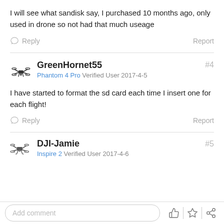I will see what sandisk say, I purchased 10 months ago, only used in drone so not had that much useage
Reply   Report
GreenHornet55 #4
Phantom 4 Pro Verified User 2017-4-5
I have started to format the sd card each time I insert one for each flight!
Reply   Report
DJI-Jamie #5
Inspire 2 Verified User 2017-4-6
Add comment